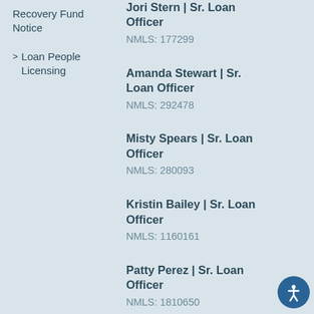Recovery Fund Notice
Loan People Licensing
Jori Stern | Sr. Loan Officer
NMLS: 177299
Amanda Stewart | Sr. Loan Officer
NMLS: 292478
Misty Spears | Sr. Loan Officer
NMLS: 280093
Kristin Bailey | Sr. Loan Officer
NMLS: 1160161
Patty Perez | Sr. Loan Officer
NMLS: 1810650